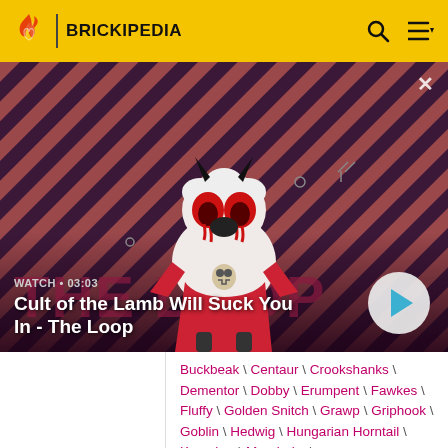BRICKIPEDIA
[Figure (screenshot): Video thumbnail for 'Cult of the Lamb Will Suck You In - The Loop' showing an animated lamb character with devil horns and red eyes against a diagonal striped dark red and pink background. Text 'THE LOOP' visible in background. Watch time 03:03 shown.]
WATCH • 03:03
Cult of the Lamb Will Suck You In - The Loop
Buckbeak \ Centaur \ Crookshanks \ Dementor \ Dobby \ Erumpent \ Fawkes \ Fluffy \ Golden Snitch \ Grawp \ Griphook \ Goblin \ Hedwig \ Hungarian Horntail \ Kreacher \ Mandrake \